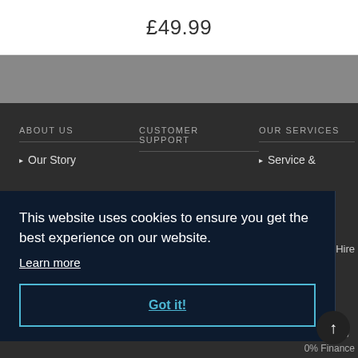£49.99
ABOUT US
CUSTOMER SUPPORT
OUR SERVICES
Our Story
Service &
This website uses cookies to ensure you get the best experience on our website.
Learn more
Got it!
x Hire
s
Club
0% Finance